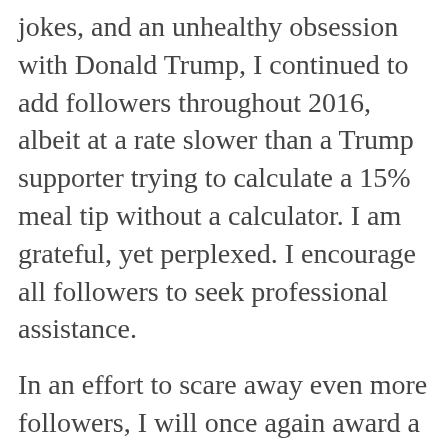jokes, and an unhealthy obsession with Donald Trump, I continued to add followers throughout 2016, albeit at a rate slower than a Trump supporter trying to calculate a 15% meal tip without a calculator. I am grateful, yet perplexed. I encourage all followers to seek professional assistance.
In an effort to scare away even more followers, I will once again award a Follower of the Year. This year, the winner will win a lunch with me. The second place finisher will receive 2 lunches, a dinner (appetizers and dessert not